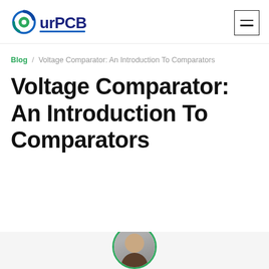[Figure (logo): OurPCB logo with circular blue/green design and blue underline]
[Figure (other): Hamburger menu icon (three horizontal lines) in a square border]
Blog / Voltage Comparator: An Introduction To Comparators
Voltage Comparator: An Introduction To Comparators
[Figure (photo): Author avatar photo, partially visible at bottom of page]